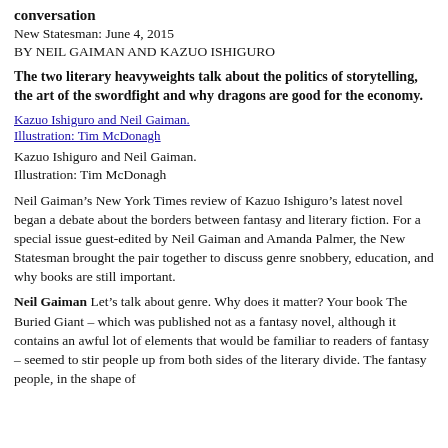conversation
New Statesman: June 4, 2015
BY NEIL GAIMAN AND KAZUO ISHIGURO
The two literary heavyweights talk about the politics of storytelling, the art of the swordfight and why dragons are good for the economy.
[Figure (illustration): Kazuo Ishiguro and Neil Gaiman. Illustration: Tim McDonagh. Shown as a linked image placeholder.]
Kazuo Ishiguro and Neil Gaiman.
Illustration: Tim McDonagh
Neil Gaiman’s New York Times review of Kazuo Ishiguro’s latest novel began a debate about the borders between fantasy and literary fiction. For a special issue guest-edited by Neil Gaiman and Amanda Palmer, the New Statesman brought the pair together to discuss genre snobbery, education, and why books are still important.
Neil Gaiman Let’s talk about genre. Why does it matter? Your book The Buried Giant – which was published not as a fantasy novel, although it contains an awful lot of elements that would be familiar to readers of fantasy – seemed to stir people up from both sides of the literary divide. The fantasy people, in the shape of